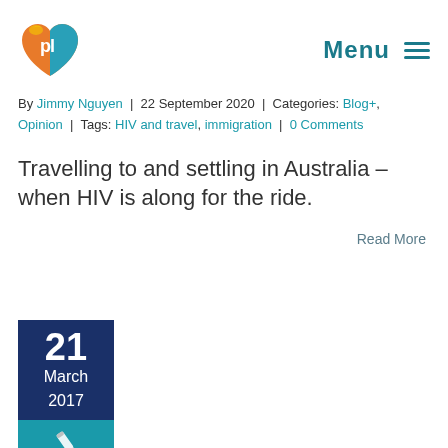[Figure (logo): Pozitively logo - colorful heart shape with 'pl' text, and 'Menu' navigation button with hamburger icon]
By Jimmy Nguyen | 22 September 2020 | Categories: Blog+, Opinion | Tags: HIV and travel, immigration | 0 Comments
Travelling to and settling in Australia – when HIV is along for the ride.
Read More
[Figure (infographic): Date block showing 21 March 2017 in dark navy blue, with a teal/cyan section below containing a pen/edit icon]